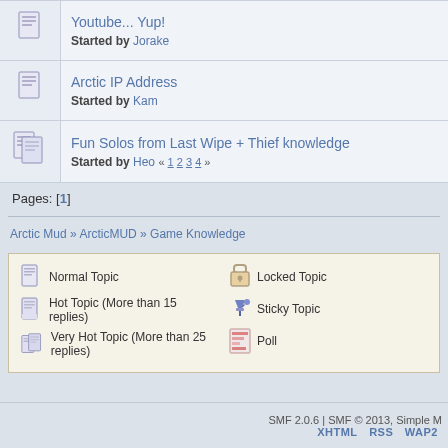Youtube... Yup! Started by Jorake
Arctic IP Address Started by Kam
Fun Solos from Last Wipe + Thief knowledge Started by Heo « 1 2 3 4 »
Pages: [1]
Arctic Mud » ArcticMUD » Game Knowledge
Normal Topic | Locked Topic | Hot Topic (More than 15 replies) | Sticky Topic | Very Hot Topic (More than 25 replies) | Poll
SMF 2.0.6 | SMF © 2013, Simple M   XHTML  RSS  WAP2